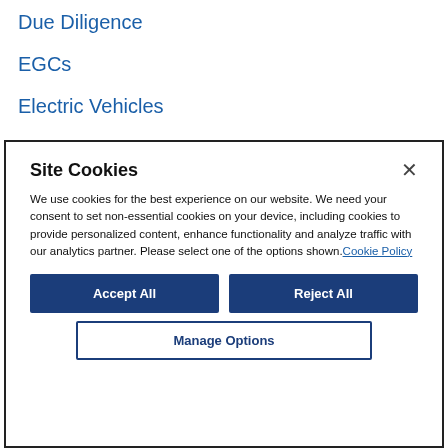Due Diligence
EGCs
Electric Vehicles
Emerging Markets
Site Cookies
We use cookies for the best experience on our website. We need your consent to set non-essential cookies on your device, including cookies to provide personalized content, enhance functionality and analyze traffic with our analytics partner. Please select one of the options shown. Cookie Policy
Accept All
Reject All
Manage Options
Financial Reporting